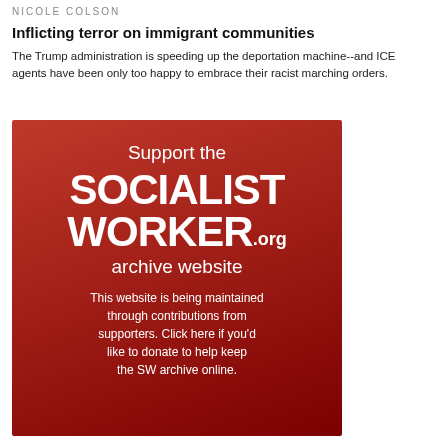NICOLE COLSON
Inflicting terror on immigrant communities
The Trump administration is speeding up the deportation machine--and ICE agents have been only too happy to embrace their racist marching orders.
[Figure (infographic): Red gradient advertisement box for the Socialist Worker.org archive website. Text reads: Support the SOCIALIST WORKER.org archive website. This website is being maintained through contributions from supporters. Click here if you'd like to donate to help keep the SW archive online.]